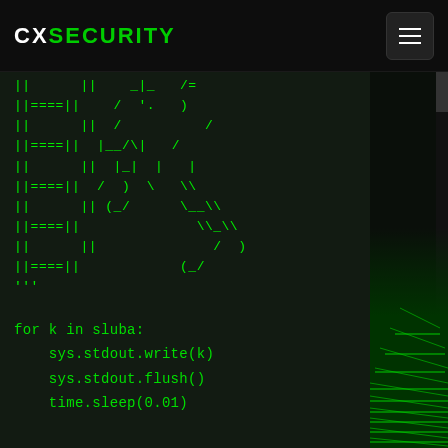CXSECURITY
||      ||    _|_   /=
||====||    /  '.   )
||      ||  /          /
||====||  |__/\|   /
||      ||  |_|  |   |
||====||  /  )  \   \\
||      || (_/      \__\\
||====||              \_\\
||      ||              /  )
||====||            (_/
'''
for k in sluba:
    sys.stdout.write(k)
    sys.stdout.flush()
    time.sleep(0.01)